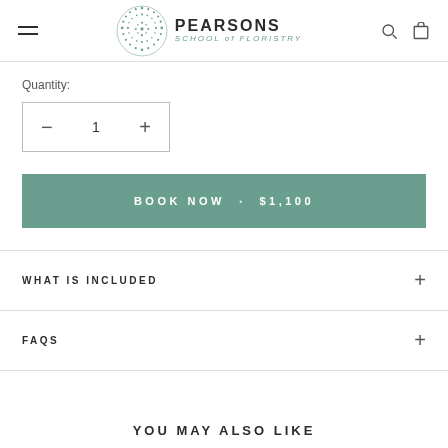PEARSONS SCHOOL of FLORISTRY
Quantity:
- 1 +
BOOK NOW  •  $1,100
WHAT IS INCLUDED
FAQS
YOU MAY ALSO LIKE